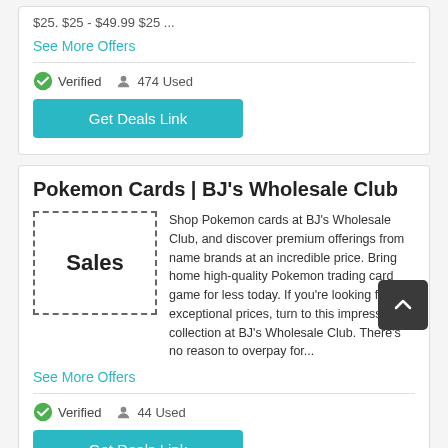$25. $25 - $49.99 $25 ...
See More Offers
Verified   474 Used
Get Deals Link
Pokemon Cards | BJ's Wholesale Club
[Figure (other): Sales placeholder image box with dashed border]
Shop Pokemon cards at BJ's Wholesale Club, and discover premium offerings from name brands at an incredible price. Bring home high-quality Pokemon trading card game for less today. If you're looking for exceptional prices, turn to this impressive collection at BJ's Wholesale Club. There's no reason to overpay for...
See More Offers
Verified   44 Used
Get Deals Link
All Pokemon Magic Dragon Cards Find C...